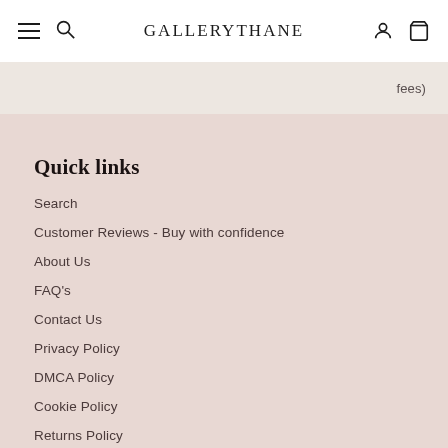GALLERYTHANE
fees)
Quick links
Search
Customer Reviews - Buy with confidence
About Us
FAQ's
Contact Us
Privacy Policy
DMCA Policy
Cookie Policy
Returns Policy